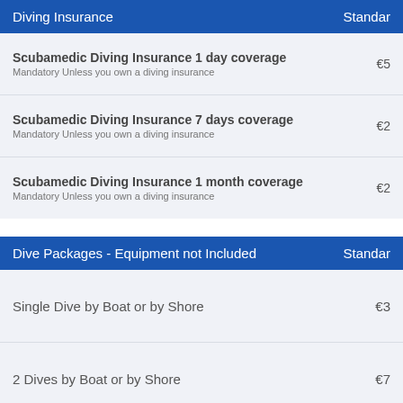| Diving Insurance | Standard |
| --- | --- |
| Scubamedic Diving Insurance 1 day coverage
Mandatory Unless you own a diving insurance | €5 |
| Scubamedic Diving Insurance 7 days coverage
Mandatory Unless you own a diving insurance | €2 |
| Scubamedic Diving Insurance 1 month coverage
Mandatory Unless you own a diving insurance | €2 |
| Dive Packages - Equipment not Included | Standard |
| --- | --- |
| Single Dive by Boat or by Shore | €3 |
| 2 Dives by Boat or by Shore | €7 |
| 3 Dives by Boat or by Shore | €10 |
| 4 Dives by Boat or by Shore | €13 |